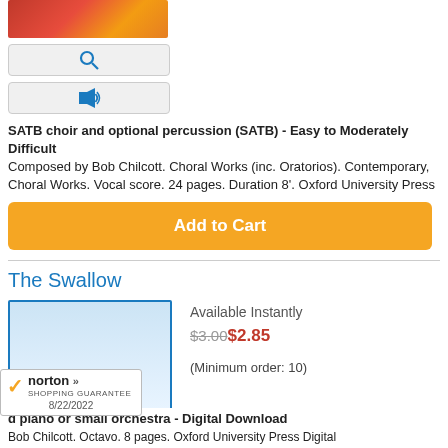[Figure (photo): Product thumbnail image with red/orange gradient colors]
[Figure (other): Preview button with magnifying glass icon]
[Figure (other): Listen button with speaker/audio icon]
SATB choir and optional percussion (SATB) - Easy to Moderately Difficult Composed by Bob Chilcott. Choral Works (inc. Oratorios). Contemporary, Choral Works. Vocal score. 24 pages. Duration 8'. Oxford University Press
[Figure (other): Add to Cart orange button]
The Swallow
[Figure (other): Digital download product thumbnail with blue download arrow icon]
Available Instantly
$3.00$2.85
(Minimum order: 10)
[Figure (other): Preview button with magnifying glass icon]
[Figure (logo): Norton Shopping Guarantee badge with checkmark, dated 8/22/2022]
d piano or small orchestra - Digital Download Composed by Bob Chilcott. Octavo. 8 pages. Oxford University Press Digital